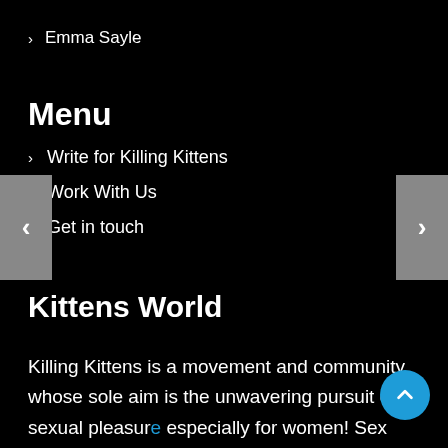> Emma Sayle
Menu
> Write for Killing Kittens
> Work With Us
> Get in touch
Kittens World
Killing Kittens is a movement and community whose sole aim is the unwavering pursuit of sexual pleasure especially for women! Sex Party in London and Sex